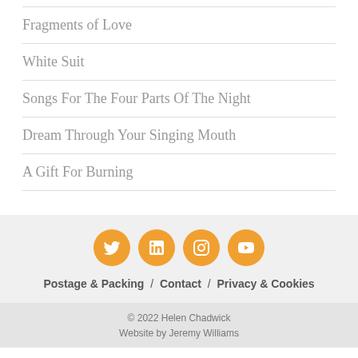Fragments of Love
White Suit
Songs For The Four Parts Of The Night
Dream Through Your Singing Mouth
A Gift For Burning
[Figure (infographic): Four orange circular social media icons: Twitter, LinkedIn, Instagram, YouTube]
Postage & Packing / Contact / Privacy & Cookies
© 2022 Helen Chadwick
Website by Jeremy Williams